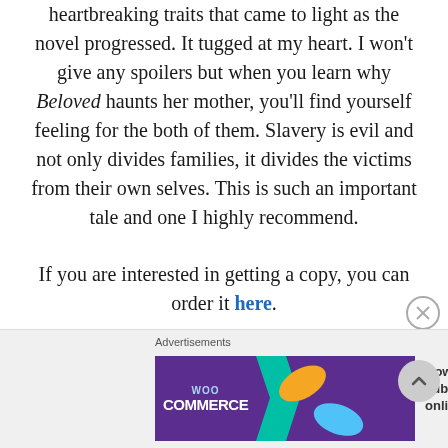heartbreaking traits that came to light as the novel progressed. It tugged at my heart. I won't give any spoilers but when you learn why Beloved haunts her mother, you'll find yourself feeling for the both of them. Slavery is evil and not only divides families, it divides the victims from their own selves. This is such an important tale and one I highly recommend.
If you are interested in getting a copy, you can order it here.
Thank you so much for reading, I will see you next time for Day #6!
[Figure (other): WooCommerce advertisement banner: purple background with WooCommerce logo, teal arrow, and text 'How to start selling subscriptions online' with orange and blue leaf decorations.]